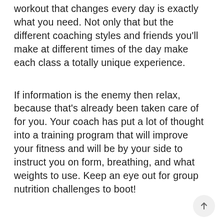workout that changes every day is exactly what you need. Not only that but the different coaching styles and friends you'll make at different times of the day make each class a totally unique experience.
If information is the enemy then relax, because that's already been taken care of for you. Your coach has put a lot of thought into a training program that will improve your fitness and will be by your side to instruct you on form, breathing, and what weights to use. Keep an eye out for group nutrition challenges to boot!